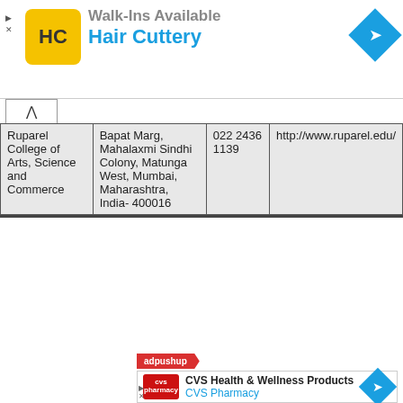[Figure (other): Hair Cuttery advertisement banner with logo, 'Walk-Ins Available' text, and blue arrow icon]
| Ruparel College of Arts, Science and Commerce | Bapat Marg, Mahalaxmi Sindhi Colony, Matunga West, Mumbai, Maharashtra, India- 400016 | 022 2436 1139 | http://www.ruparel.edu/ |
ADVERTISEMENT
[Figure (other): adpushup CVS Health & Wellness Products / CVS Pharmacy advertisement with red CVS pharmacy logo and blue arrow icon]